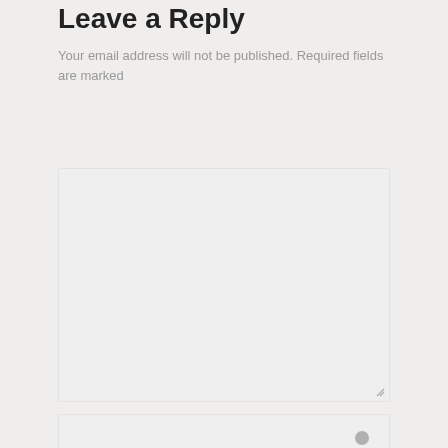Leave a Reply
Your email address will not be published. Required fields are marked
[Figure (screenshot): Large empty textarea input field with resize handle at bottom-right corner, light gray background]
[Figure (screenshot): Text input field for name with a gray person/user icon on the right side]
[Figure (screenshot): Text input field for email with a gray envelope/email icon on the right side (partially visible)]